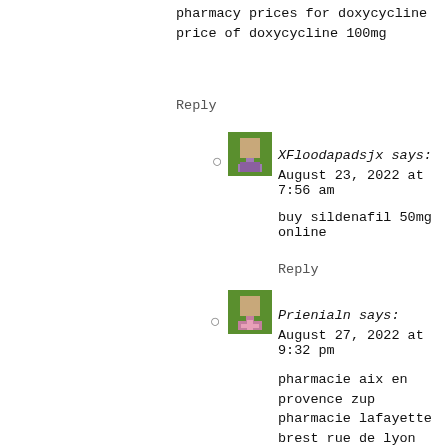pharmacy prices for doxycycline price of doxycycline 100mg
Reply
[Figure (illustration): Green pixel-art avatar icon for user XFloodapadsjx]
XFloodapadsjx says:
August 23, 2022 at 7:56 am
buy sildenafil 50mg online
Reply
[Figure (illustration): Green pixel-art avatar icon with pink cross for user Prienialn]
Prienialn says:
August 27, 2022 at 9:32 pm
pharmacie aix en provence zup pharmacie lafayette brest rue de lyon pharmacie ouverte 24/24 . therapies used in psychiatry pharmacie auchan englos . therapies with cancer patients therapie act formation pharmacie macaigne amiens pharmacie de garde paris xv . pharmacie lafayette varichon medicaments fin de vie pharmacie villez bailly